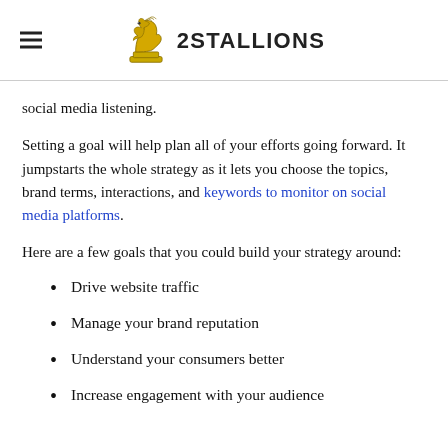2Stallions
social media listening.
Setting a goal will help plan all of your efforts going forward. It jumpstarts the whole strategy as it lets you choose the topics, brand terms, interactions, and keywords to monitor on social media platforms.
Here are a few goals that you could build your strategy around:
Drive website traffic
Manage your brand reputation
Understand your consumers better
Increase engagement with your audience